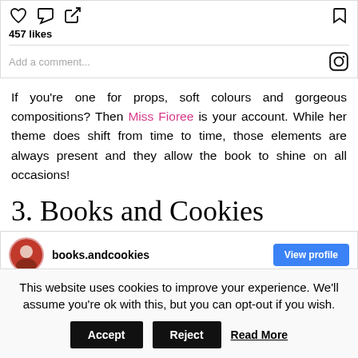[Figure (screenshot): Instagram-style post interaction bar with heart, comment, share icons, bookmark icon, 457 likes count, and 'Add a comment...' input with Instagram logo]
If you’re one for props, soft colours and gorgeous compositions? Then Miss Fioree is your account. While her theme does shift from time to time, those elements are always present and they allow the book to shine on all occasions!
3. Books and Cookies
[Figure (screenshot): Instagram profile row showing books.andcookies account with profile photo and View profile button]
This website uses cookies to improve your experience. We’ll assume you’re ok with this, but you can opt-out if you wish.
Accept
Reject
Read More